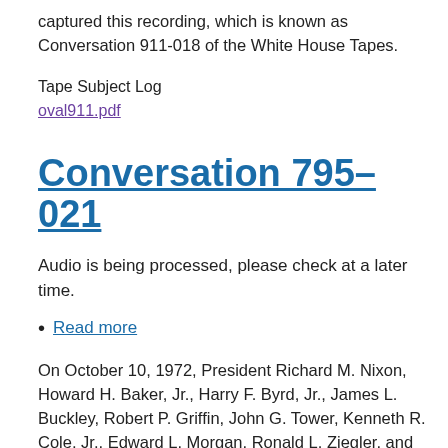captured this recording, which is known as Conversation 911-018 of the White House Tapes.
Tape Subject Log
oval911.pdf
Conversation 795-021
Audio is being processed, please check at a later time.
Read more
On October 10, 1972, President Richard M. Nixon, Howard H. Baker, Jr., Harry F. Byrd, Jr., James L. Buckley, Robert P. Griffin, John G. Tower, Kenneth R. Cole, Jr., Edward L. Morgan, Ronald L. Ziegler, and White House photographer met in the Oval Office of the White House from 4:02 pm to 4:26 pm. The Oval Office taping system captured this